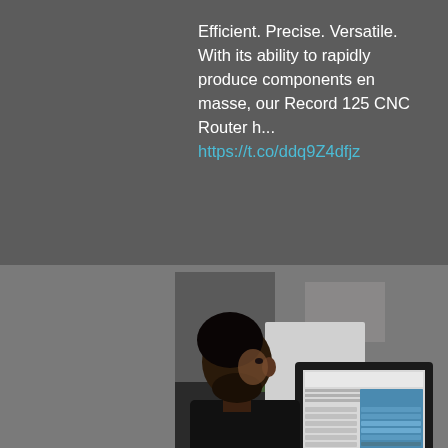Efficient. Precise. Versatile. With its ability to rapidly produce components en masse, our Record 125 CNC Router h... https://t.co/ddq9Z4dfjz
[Figure (photo): A man in a black shirt viewed from behind/side, looking at a CNC machine control panel/touchscreen interface in an industrial setting]
[Figure (photo): A nighttime or dusk photograph of a historic building with arched colonnade and a modern illuminated wooden structure attached to it]